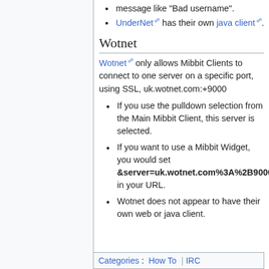message like "Bad username".
UnderNet has their own java client.
Wotnet
Wotnet only allows Mibbit Clients to connect to one server on a specific port, using SSL, uk.wotnet.com:+9000
If you use the pulldown selection from the Main Mibbit Client, this server is selected.
If you want to use a Mibbit Widget, you would set &server=uk.wotnet.com%3A%2B9000 in your URL.
Wotnet does not appear to have their own web or java client.
Categories: How To | IRC